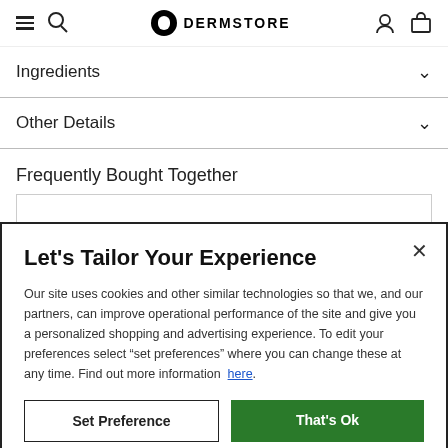DERMSTORE
Ingredients
Other Details
Frequently Bought Together
Let's Tailor Your Experience
Our site uses cookies and other similar technologies so that we, and our partners, can improve operational performance of the site and give you a personalized shopping and advertising experience. To edit your preferences select "set preferences" where you can change these at any time. Find out more information here.
Set Preference
That's Ok